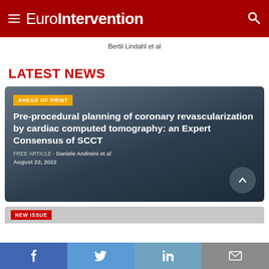EuroIntervention
Bertil Lindahl et al
LATEST NEWS
AHEAD OF PRINT
Pre-procedural planning of coronary revascularization by cardiac computed tomography: an Expert Consensus of SCCT
FREE ARTICLE - Daniele Andreini et al
August 22, 2022
NEW ISSUE
f  Twitter  in  Email